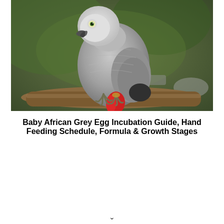[Figure (photo): An African Grey parrot perched on a branch, facing left. The bird has grey plumage with a white face, yellow-green eye, dark beak, and a distinctive red tail. Background shows blurred green foliage and metallic objects.]
Baby African Grey Egg Incubation Guide, Hand Feeding Schedule, Formula & Growth Stages